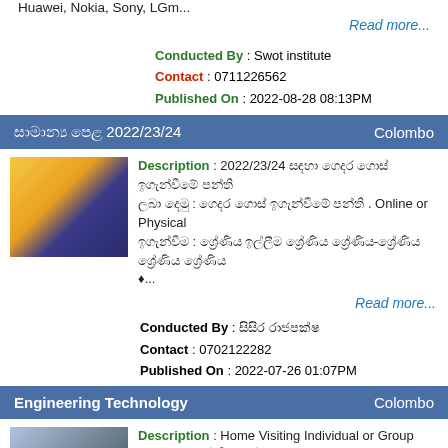Huawei, Nokia, Sony, LGm...
Read more...
Conducted By : Swot institute
Contact : 0711226562
Published On : 2022-08-28 08:13PM
සාමාන්‍ය පෙළ 2022/23/24 — Colombo
[Figure (photo): Course listing image for O/L 2022/23/24 class]
Description : 2022/23/24 සඳහා ගෙදර ගොස් ඉගැන්වීමේ ... Online or Physical ...
Read more...
Conducted By : සිසිර රාජපක්ෂ
Contact : 0702122282
Published On : 2022-07-26 01:07PM
Engineering Technology — Colombo
[Figure (photo): Engineering Technology course listing image]
Description : Home Visiting Individual or Group Classes.. ශ්‍රේණිය ඉල්ලීම(2022/2023/2024) Syllabus will be covered with Revision exercises Miscellaneous